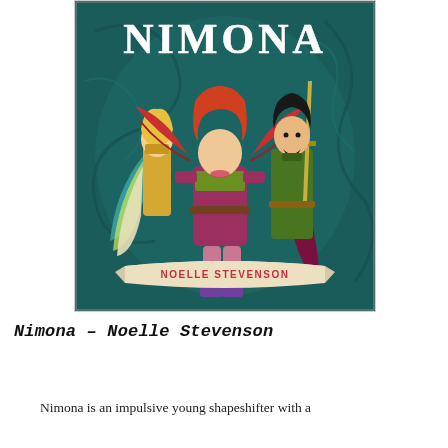[Figure (illustration): Book cover of Nimona by Noelle Stevenson. A teal/dark green illustrated cover showing three characters: a red-haired girl with dragon wings in the center wearing a purple dress, a blonde character on the left in yellow, and a dark-haired man in green on the right holding a sword. The title NIMONA appears in white letters at the top and a banner at the bottom reads NOELLE STEVENSON.]
Nimona – Noelle Stevenson
Nimona is an impulsive young shapeshifter with a